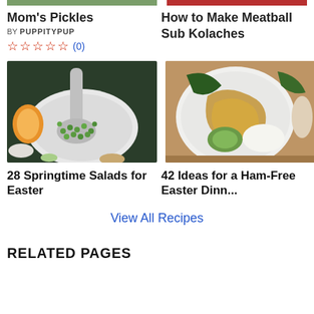[Figure (photo): Cropped top of Mom's Pickles food photo (left)]
[Figure (photo): Cropped top of How to Make Meatball Sub Kolaches food photo (right)]
Mom's Pickles
BY PUPPITYPUP
☆☆☆☆☆ (0)
How to Make Meatball Sub Kolaches
[Figure (photo): Photo of green peas on a white plate with a silver spoon, surrounded by oranges and other ingredients on a dark background]
[Figure (photo): Photo of a plate with chicken, avocado, and other foods on a wooden cutting board]
28 Springtime Salads for Easter
42 Ideas for a Ham-Free Easter Dinn...
View All Recipes
RELATED PAGES